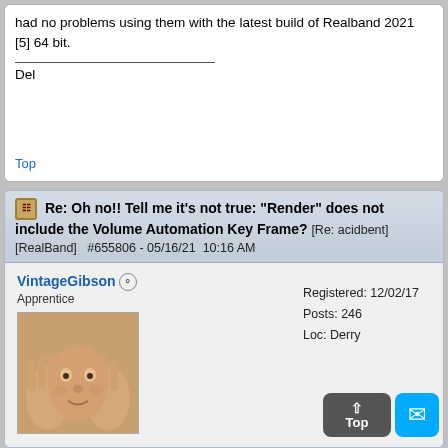had no problems using them with the latest build of Realband 2021 [5] 64 bit.
Del
Top
Re: Oh no!! Tell me it's not true: "Render" does not include the Volume Automation Key Frame? [Re: acidbent]  [RealBand]  #655806 - 05/16/21  10:16 AM
VintageGibson  Apprentice  Registered: 12/02/17  Posts: 246  Loc: Derry
[Figure (photo): Avatar image of a face seen through hands pressed against glass]
Registered: 12/02/17
Posts: 246
Loc: Derry